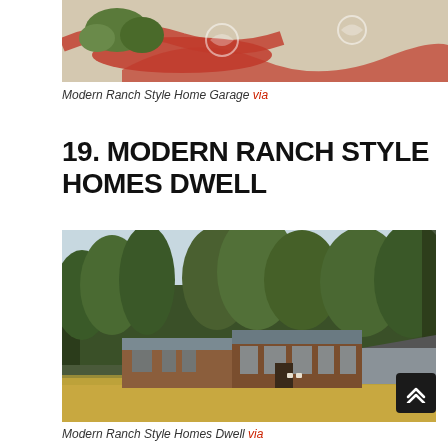[Figure (photo): Aerial view of a modern ranch style home garage with red decorative driveway pattern and landscaping]
Modern Ranch Style Home Garage via
19. MODERN RANCH STYLE HOMES DWELL
[Figure (photo): Exterior view of a modern ranch style home with wood cladding, flat/shed roof, large windows, surrounded by tall trees and dry grass landscape]
Modern Ranch Style Homes Dwell via